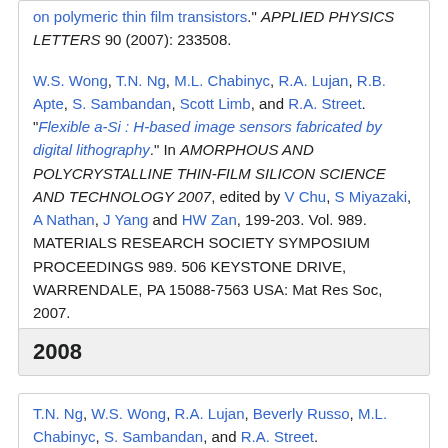on polymeric thin film transistors." APPLIED PHYSICS LETTERS 90 (2007): 233508.
W.S. Wong, T.N. Ng, M.L. Chabinyc, R.A. Lujan, R.B. Apte, S. Sambandan, Scott Limb, and R.A. Street. "Flexible a-Si : H-based image sensors fabricated by digital lithography." In AMORPHOUS AND POLYCRYSTALLINE THIN-FILM SILICON SCIENCE AND TECHNOLOGY 2007, edited by V Chu, S Miyazaki, A Nathan, J Yang and HW Zan, 199-203. Vol. 989. MATERIALS RESEARCH SOCIETY SYMPOSIUM PROCEEDINGS 989. 506 KEYSTONE DRIVE, WARRENDALE, PA 15088-7563 USA: Mat Res Soc, 2007.
2008
T.N. Ng, W.S. Wong, R.A. Lujan, Beverly Russo, M.L. Chabinyc, S. Sambandan, and R.A. Street.